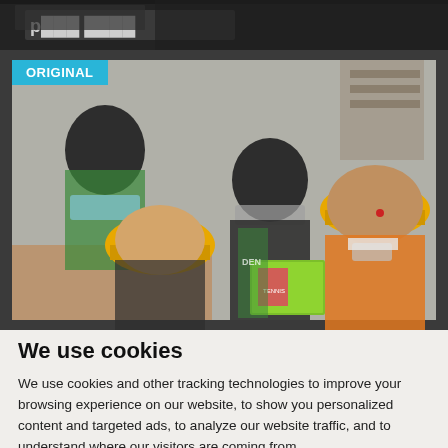[Figure (photo): Dark header bar at top of page with partial light-colored text visible]
[Figure (photo): Photo of people wearing yellow/orange caps and green vests looking at a booklet or flyer, one person wearing a mask. An 'ORIGINAL' badge is overlaid in the top-left corner of the photo.]
We use cookies
We use cookies and other tracking technologies to improve your browsing experience on our website, to show you personalized content and targeted ads, to analyze our website traffic, and to understand where our visitors are coming from.